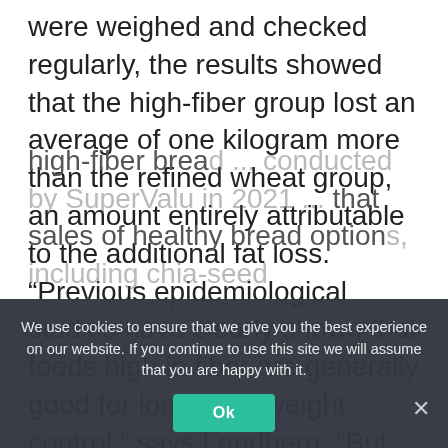were weighed and checked regularly, the results showed that the high-fiber group lost an average of one kilogram more than the refined wheat group, an amount entirely attributable to the additional fat loss. “Previous epidemiological studies have clearly shown that foods high in fiber are generally good for long-term weight control,” says Landberg. “But ours was the largest study that looked specifically at how high-fiber cereals in the diet affect body weight and body fat, and we’ve shown that fiber has an important and beneficial effect.”
high-fiber bread ... conducted by SuperValu in 2021 ... that sales of healthy bread options, including chia-seed
We use cookies to ensure that we give you the best experience on our website. If you continue to use this site we will assume that you are happy with it.